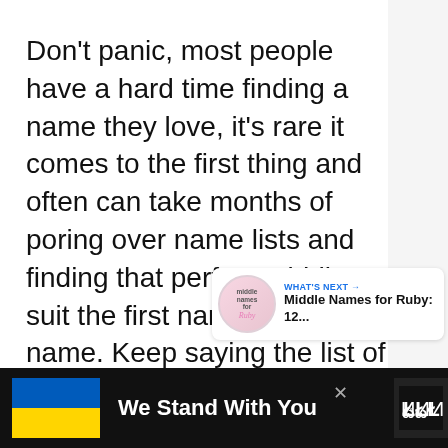Don't panic, most people have a hard time finding a name they love, it's rare it comes to the first thing and often can take months of poring over name lists and finding that perfect middle to suit the first name and last name. Keep saying the list of baby names along with the first and middle names out loud until you find the one you love the most.
[Figure (screenshot): A circular blue like/heart button with a heart icon, a share button, and a 'WHAT'S NEXT' card linking to 'Middle Names for Ruby: 12...']
[Figure (infographic): Advertisement banner: Ukrainian flag image on left, 'We Stand With You' text in white on black background, with close X button and logo on right]